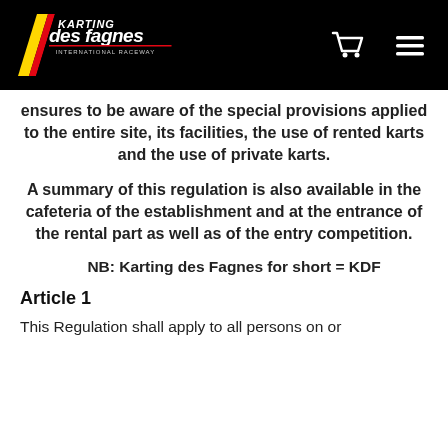Karting des Fagnes — header with logo, cart icon, and menu icon
ensures to be aware of the special provisions applied to the entire site, its facilities, the use of rented karts and the use of private karts.
A summary of this regulation is also available in the cafeteria of the establishment and at the entrance of the rental part as well as of the entry competition.
NB: Karting des Fagnes for short = KDF
Article 1
This Regulation shall apply to all persons on or